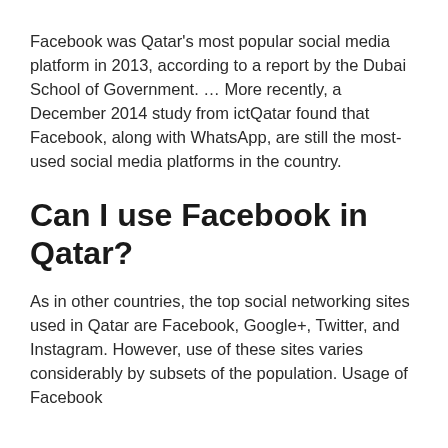Facebook was Qatar's most popular social media platform in 2013, according to a report by the Dubai School of Government. … More recently, a December 2014 study from ictQatar found that Facebook, along with WhatsApp, are still the most-used social media platforms in the country.
Can I use Facebook in Qatar?
As in other countries, the top social networking sites used in Qatar are Facebook, Google+, Twitter, and Instagram. However, use of these sites varies considerably by subsets of the population. Usage of Facebook